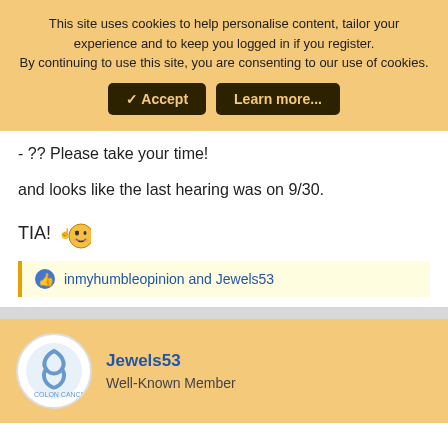This site uses cookies to help personalise content, tailor your experience and to keep you logged in if you register. By continuing to use this site, you are consenting to our use of cookies.
Accept  Learn more...
- ?? Please take your time!
and looks like the last hearing was on 9/30.
TIA!
inmyhumbleopinion and Jewels53
Jewels53
Well-Known Member